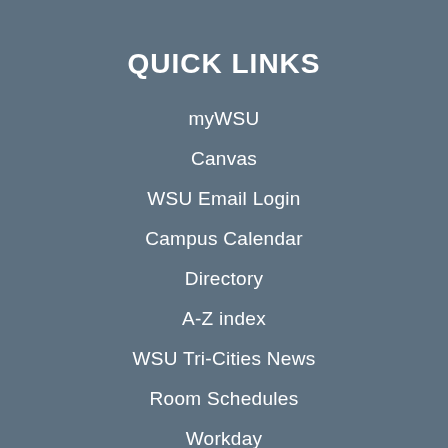QUICK LINKS
myWSU
Canvas
WSU Email Login
Campus Calendar
Directory
A-Z index
WSU Tri-Cities News
Room Schedules
Workday